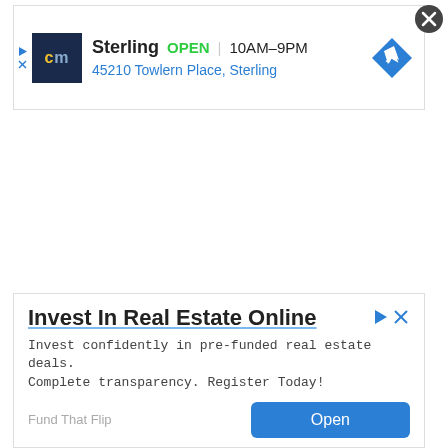[Figure (screenshot): Advertisement banner for a store: CM logo (dark blue background with yellow 'c' and grey 'm'), store name 'Sterling', status 'OPEN', hours '10AM-9PM', address '45210 Towlern Place, Sterling', blue diamond navigation arrow icon. Ad controls (play/close) on left. Close X circle top right corner.]
[Figure (screenshot): Advertisement banner: Title 'Invest In Real Estate Online' (bold, underlined in light blue), body text 'Invest confidently in pre-funded real estate deals. Complete transparency. Register Today!', brand name 'Fund That Flip', blue 'Open' button. Ad controls top right.]